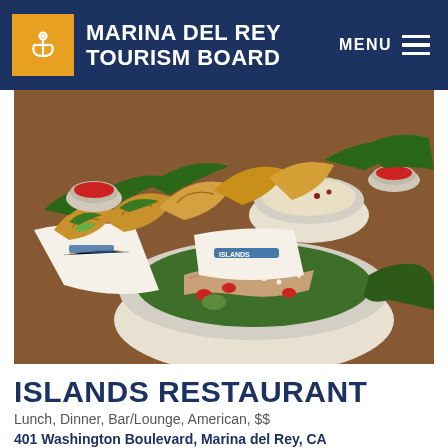MARINA DEL REY TOURISM BOARD
[Figure (photo): Food photo showing tacos, rice bowls, and a salad with grilled chicken, strawberries, avocado, and greens on a wooden table, with Islands Restaurant branded wrappers.]
ISLANDS RESTAURANT
Lunch, Dinner, Bar/Lounge, American, $$
401 Washington Boulevard, Marina del Rey, CA